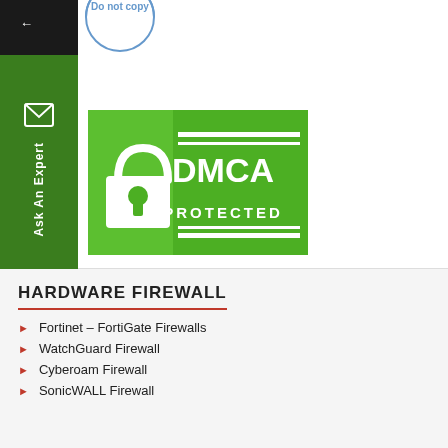[Figure (logo): Do not copy watermark circle stamp in blue]
[Figure (logo): DMCA Protected green badge with padlock icon]
[Figure (other): Left sidebar with black top section showing back arrow and green section with Ask An Expert text and envelope icon]
HARDWARE FIREWALL
Fortinet – FortiGate Firewalls
WatchGuard Firewall
Cyberoam Firewall
SonicWALL Firewall